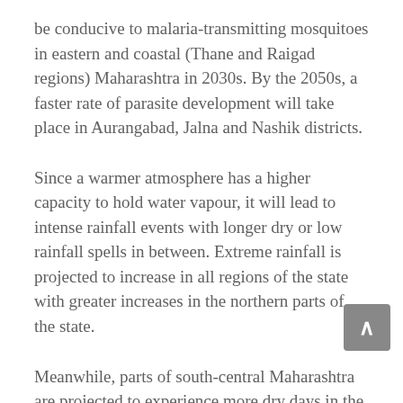be conducive to malaria-transmitting mosquitoes in eastern and coastal (Thane and Raigad regions) Maharashtra in 2030s. By the 2050s, a faster rate of parasite development will take place in Aurangabad, Jalna and Nashik districts.
Since a warmer atmosphere has a higher capacity to hold water vapour, it will lead to intense rainfall events with longer dry or low rainfall spells in between. Extreme rainfall is projected to increase in all regions of the state with greater increases in the northern parts of the state.
Meanwhile, parts of south-central Maharashtra are projected to experience more dry days in the 2030s as compared to the baseline. These districts of Marathwada are already prone to recurring droughts and infamous for farmers' suicides.